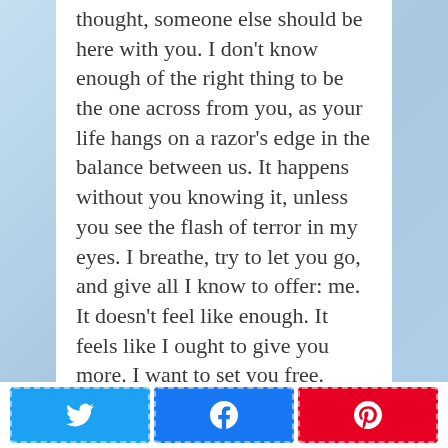thought, someone else should be here with you. I don't know enough of the right thing to be the one across from you, as your life hangs on a razor's edge in the balance between us. It happens without you knowing it, unless you see the flash of terror in my eyes. I breathe, try to let you go, and give all I know to offer: me. It doesn't feel like enough. It feels like I ought to give you more. I want to set you free.
We see things so differently, you and I. We're on opposite ends of an experience. It seems like I should be able to hand you what I know, all I learned, and save you the
[Figure (other): Social share buttons: Twitter (blue), Facebook (blue), Pinterest (red)]